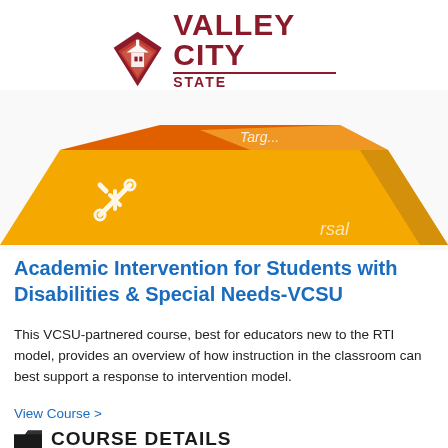[Figure (logo): Valley City State University logo with diamond shield and text VALLEY CITY STATE UNIVERSITY in dark red]
[Figure (illustration): Gold and orange 3D geometric shape resembling stacked hexagonal blocks with wrench icon and partial text visible]
Academic Intervention for Students with Disabilities & Special Needs-VCSU
This VCSU-partnered course, best for educators new to the RTI model, provides an overview of how instruction in the classroom can best support a response to intervention model.
View Course >
COURSE DETAILS